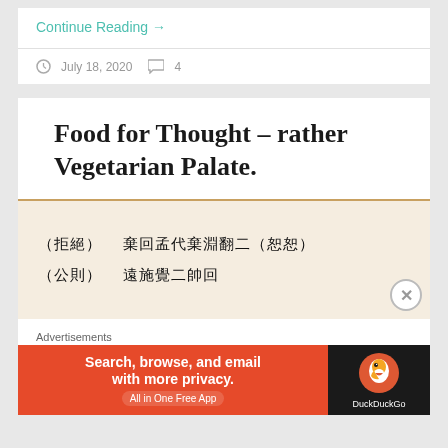Continue Reading →
July 18, 2020   4
Food for Thought – rather Vegetarian Palate.
[Figure (photo): Image with Chinese/Japanese handwritten characters on a beige/cream background with a brown top border. Two lines of characters with parenthetical annotations.]
Advertisements
[Figure (screenshot): DuckDuckGo advertisement banner: orange left side with text 'Search, browse, and email with more privacy. All in One Free App' and dark right side with DuckDuckGo logo and name.]